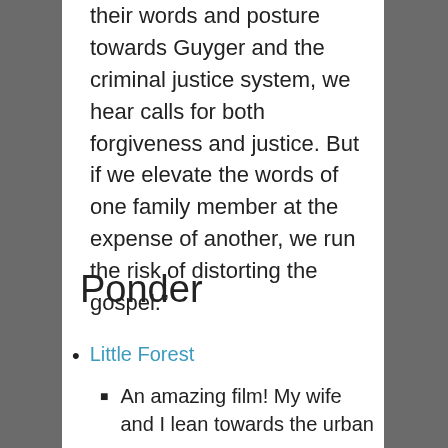their words and posture towards Guyger and the criminal justice system, we hear calls for both forgiveness and justice. But if we elevate the words of one family member at the expense of another, we run the risk of distorting the gospel.”
Ponder
Little Forest
An amazing film! My wife and I lean towards the urban